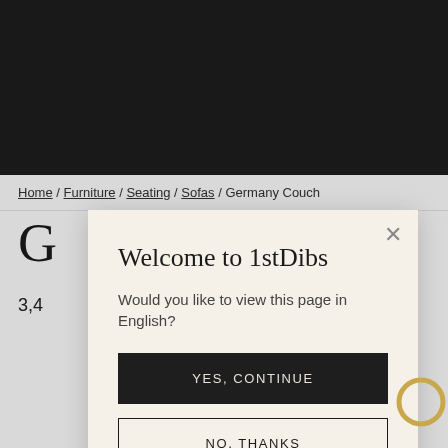[Figure (screenshot): Dark banner background area at top of page]
Home / Furniture / Seating / Sofas / Germany Couch
G
3,4
[Figure (screenshot): Modal dialog overlay: Welcome to 1stDibs with Yes, Continue and No, Thanks buttons]